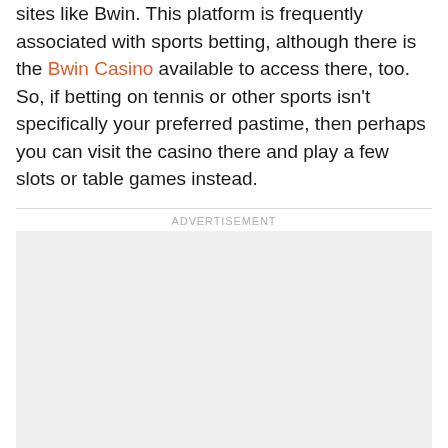sites like Bwin. This platform is frequently associated with sports betting, although there is the Bwin Casino available to access there, too. So, if betting on tennis or other sports isn't specifically your preferred pastime, then perhaps you can visit the casino there and play a few slots or table games instead.
ADVERTISEMENT
[Figure (other): Advertisement placeholder box with light grey background]